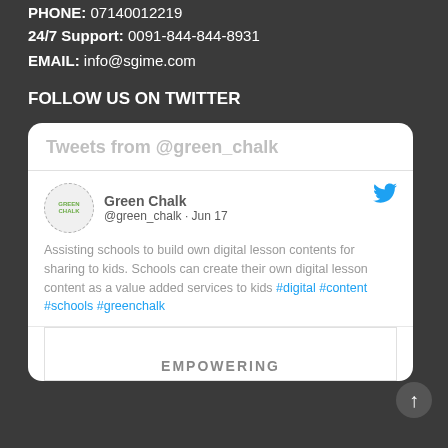PHONE: 07140012219
24/7 Support: 0091-844-844-8931
EMAIL: info@sgime.com
FOLLOW US ON TWITTER
[Figure (screenshot): Embedded Twitter widget showing tweets from @green_chalk. Header reads 'Tweets from @green_chalk'. A tweet by Green Chalk (@green_chalk · Jun 17) says: 'Assisting schools to build own digital lesson contents for sharing to kids. Schools can create their own digital lesson content as a value added services to kids #digital #content #schools #greenchalk'. Below is a partial image with 'EMPOWERING' text visible.]